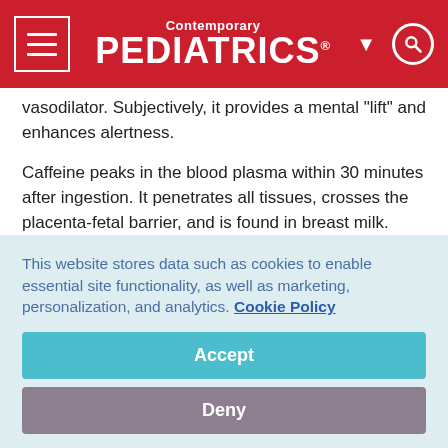Contemporary PEDIATRICS
vasodilator. Subjectively, it provides a mental "lift" and enhances alertness.
Caffeine peaks in the blood plasma within 30 minutes after ingestion. It penetrates all tissues, crosses the placenta-fetal barrier, and is found in breast milk. Breast milk concentration of caffeine is approximately 50% of the maternal serum concentration, and excessive maternal consumption may cause irritability in a nursing infant. The half-life of caffeine
This website stores data such as cookies to enable essential site functionality, as well as marketing, personalization, and analytics. Cookie Policy
Accept
Deny